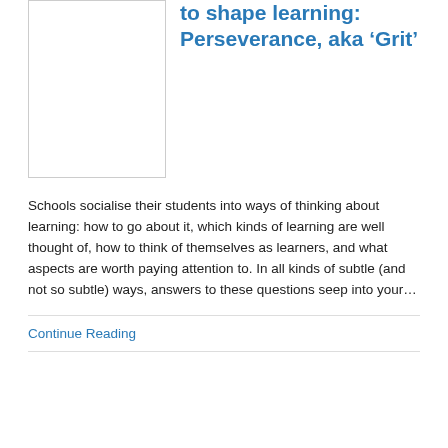[Figure (photo): Placeholder image box with border]
to shape learning: Perseverance, aka ‘Grit’
Schools socialise their students into ways of thinking about learning: how to go about it, which kinds of learning are well thought of, how to think of themselves as learners, and what aspects are worth paying attention to. In all kinds of subtle (and not so subtle) ways, answers to these questions seep into your…
Continue Reading